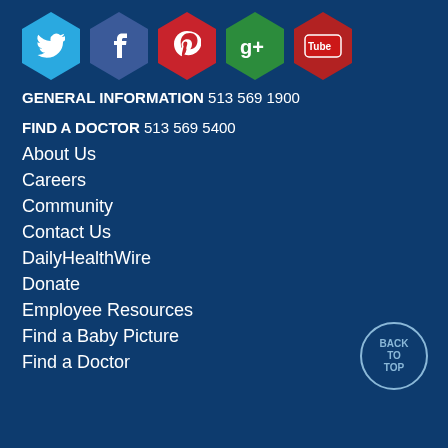[Figure (illustration): Five social media icons in hexagonal shapes: Twitter (blue), Facebook (dark blue), Pinterest (red), Google+ (green), YouTube (red)]
GENERAL INFORMATION 513 569 1900
FIND A DOCTOR 513 569 5400
About Us
Careers
Community
Contact Us
DailyHealthWire
Donate
Employee Resources
Find a Baby Picture
Find a Doctor